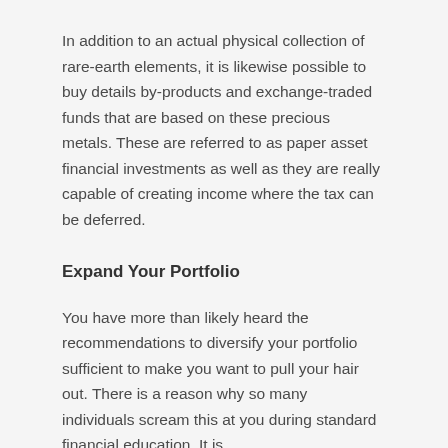In addition to an actual physical collection of rare-earth elements, it is likewise possible to buy details by-products and exchange-traded funds that are based on these precious metals. These are referred to as paper asset financial investments as well as they are really capable of creating income where the tax can be deferred.
Expand Your Portfolio
You have more than likely heard the recommendations to diversify your portfolio sufficient to make you want to pull your hair out. There is a reason why so many individuals scream this at you during standard financial education. It is